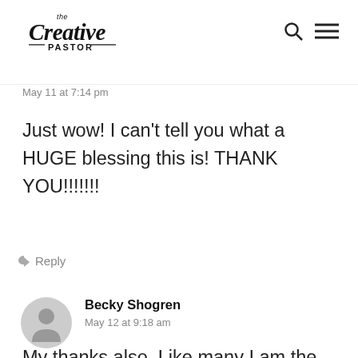the Creative Pastor
May 11 at 7:14 pm
Just wow! I can't tell you what a HUGE blessing this is! THANK YOU!!!!!!!
Reply
[Figure (illustration): User avatar: gray circle with default person silhouette icon]
Becky Shogren
May 12 at 9:18 am
My thanks also. Like many I am the